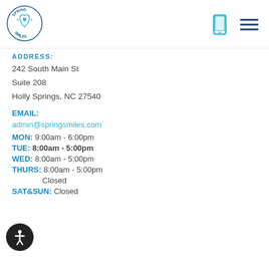[Figure (logo): Spring Smiles dental practice circular logo with a tooth/heart design and the text SPRING SMILES around the border]
ADDRESS:
242 South Main St
Suite 208
Holly Springs, NC 27540
EMAIL:
admin@springsmiles.com
MON: 9:00am - 6:00pm
TUE: 8:00am - 5:00pm
WED: 8:00am - 5:00pm
THURS: 8:00am - 5:00pm
Closed
SAT&SUN: Closed